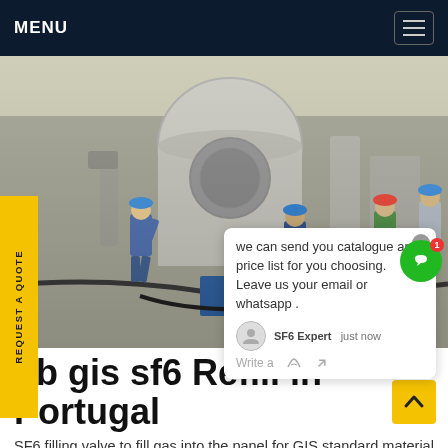MENU
[Figure (photo): Industrial site with workers in blue overalls and hard hats working near large GIS SF6 gas insulated switchgear equipment outdoors. Multiple cylindrical tanks and electrical apparatus visible in background.]
REQUEST A QUOTE
we can send you catalogue and price list for you choosing.
Leave us your email or whatsapp .
SF6 Expert   just now
Write a
ob gis sf6 Refill in Portugal
SF6 filling valve to fill gas into the panel for GIS standard material Categories Parts Services Mediu...